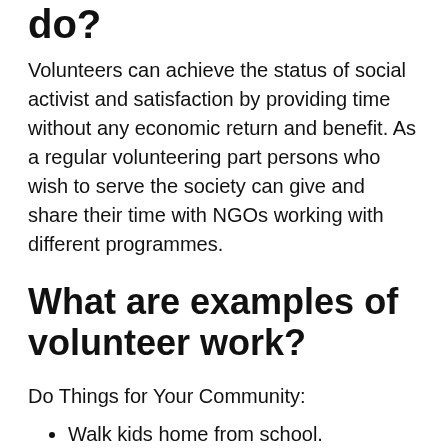do?
Volunteers can achieve the status of social activist and satisfaction by providing time without any economic return and benefit. As a regular volunteering part persons who wish to serve the society can give and share their time with NGOs working with different programmes.
What are examples of volunteer work?
Do Things for Your Community:
Walk kids home from school.
Rake leaves for an elderly neighbor.
Mow your neighbor's lawn.